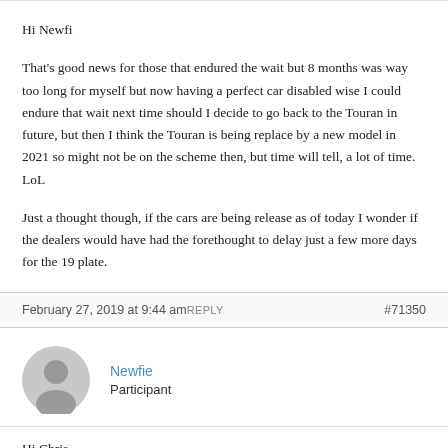Hi Newfi

That's good news for those that endured the wait but 8 months was way too long for myself but now having a perfect car disabled wise I could endure that wait next time should I decide to go back to the Touran in future, but then I think the Touran is being replace by a new model in 2021 so might not be on the scheme then, but time will tell, a lot of time. LoL

Just a thought though, if the cars are being release as of today I wonder if the dealers would have had the forethought to delay just a few more days for the 19 plate.
February 27, 2019 at 9:44 amREPLY  #71350
Newfie
Participant
Hi Chris